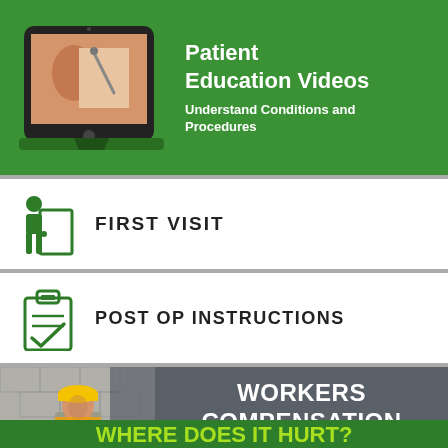[Figure (infographic): Green banner with tablet device image showing a medical procedure video]
Patient Education Videos
Understand Conditions and Procedures
[Figure (infographic): First Visit menu row with green person/door icon]
FIRST VISIT
[Figure (infographic): Post Op Instructions menu row with green clipboard icon]
POST OP INSTRUCTIONS
[Figure (infographic): Workers Compensation gray banner with construction worker photo]
WORKERS COMPENSATION
[Figure (infographic): Green WHERE DOES IT HURT section with body silhouette]
WHERE DOES IT HURT?
Select your area of concern to learn about available treatment services